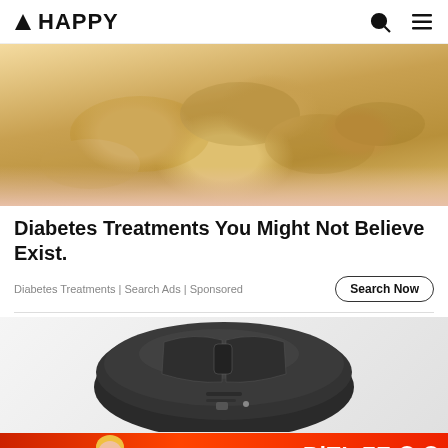▲ HAPPY
[Figure (photo): A hand holding multiple cashew nuts, close-up photo]
Diabetes Treatments You Might Not Believe Exist.
Diabetes Treatments | Search Ads | Sponsored
[Figure (photo): A black computer mouse on a light gray background]
[Figure (infographic): BitLife advertisement banner with FAIL badge, animated character, flames, and 'START A NEW LIFE' button on red background]